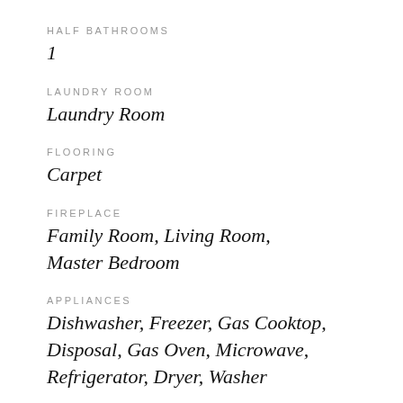HALF BATHROOMS
1
LAUNDRY ROOM
Laundry Room
FLOORING
Carpet
FIREPLACE
Family Room, Living Room, Master Bedroom
APPLIANCES
Dishwasher, Freezer, Gas Cooktop, Disposal, Gas Oven, Microwave, Refrigerator, Dryer, Washer